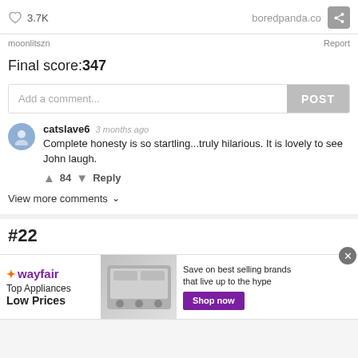3.7K   boredpanda.co
moonlitszn   Report
Final score:347
Add a comment...  POST
catslave6  3 months ago
Complete honesty is so startling...truly hilarious. It is lovely to see John laugh.
↑ 84 ↓  Reply
View more comments ∨
#22
[Figure (screenshot): Wayfair advertisement banner: logo, 'Top Appliances Low Prices', appliance image, 'Save on best selling brands that live up to the hype', 'Shop now' button]